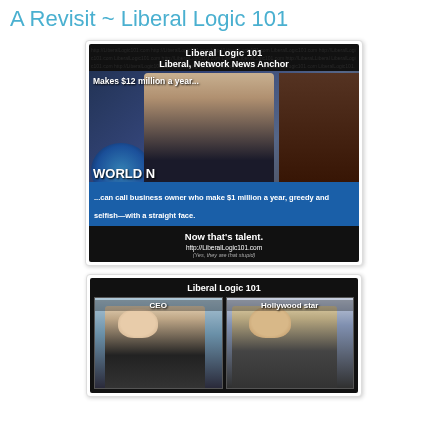A Revisit ~ Liberal Logic 101
[Figure (photo): Liberal Logic 101 meme featuring a female news anchor. Text reads: 'Liberal Logic 101', 'Liberal, Network News Anchor', 'Makes $12 million a year...', '...can call business owner who make $1 million a year, greedy and selfish—with a straight face.', 'Now that\'s talent.', 'http://LiberalLogic101.com', '(Yes, they are that stupid)']
[Figure (photo): Liberal Logic 101 meme showing two photos side by side: a CEO (bald man in suit) and a Hollywood star (Harrison Ford-like actor), with labels 'CEO' and 'Hollywood star'.]